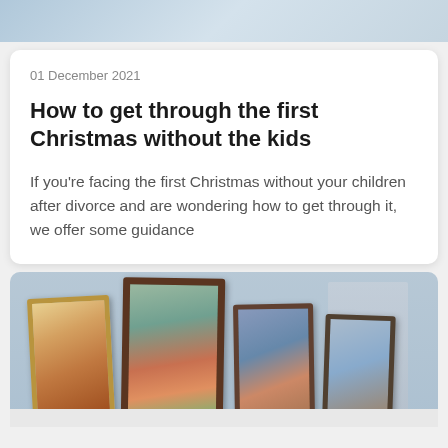[Figure (photo): Top portion of an article image, partially visible at the top of the page]
01 December 2021
How to get through the first Christmas without the kids
If you're facing the first Christmas without your children after divorce and are wondering how to get through it, we offer some guidance
[Figure (photo): Photo of multiple picture frames lined up on a surface, containing photos of children in colorful clothing]